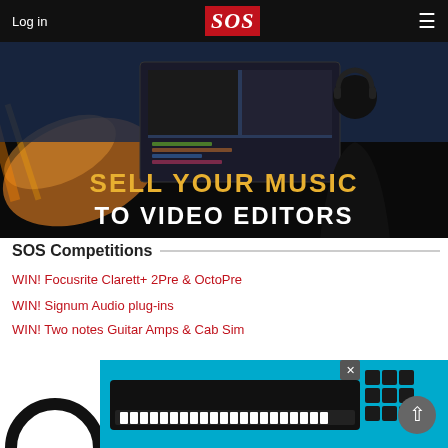Log in | SOS | ☰
[Figure (photo): Banner advertisement showing a person with headphones at a computer workstation with video editing software visible on screen, dark background with colorful light streaks, yellow text 'SELL YOUR MUSIC' and white text 'TO VIDEO EDITORS']
SOS Competitions
WIN! Focusrite Clarett+ 2Pre & OctoPre
WIN! Signum Audio plug-ins
WIN! Two notes Guitar Amps & Cab Sim
[Figure (photo): Advertisement banner showing a Nektar MIDI keyboard controller and drum pads on a cyan/white background with a close X button visible]